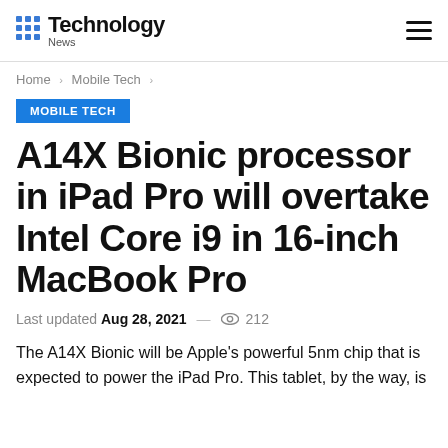Technology News
Home > Mobile Tech >
MOBILE TECH
A14X Bionic processor in iPad Pro will overtake Intel Core i9 in 16-inch MacBook Pro
Last updated Aug 28, 2021 — 212
The A14X Bionic will be Apple's powerful 5nm chip that is expected to power the iPad Pro. This tablet, by the way, is